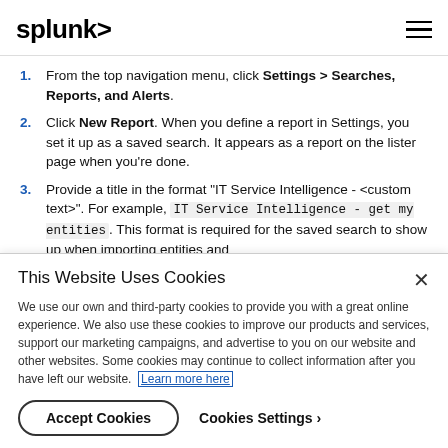splunk>
From the top navigation menu, click Settings > Searches, Reports, and Alerts.
Click New Report. When you define a report in Settings, you set it up as a saved search. It appears as a report on the lister page when you're done.
Provide a title in the format "IT Service Intelligence - <custom text>". For example, IT Service Intelligence - get my entities. This format is required for the saved search to show up when importing entities and
This Website Uses Cookies
We use our own and third-party cookies to provide you with a great online experience. We also use these cookies to improve our products and services, support our marketing campaigns, and advertise to you on our website and other websites. Some cookies may continue to collect information after you have left our website. Learn more here
Accept Cookies   Cookies Settings ›